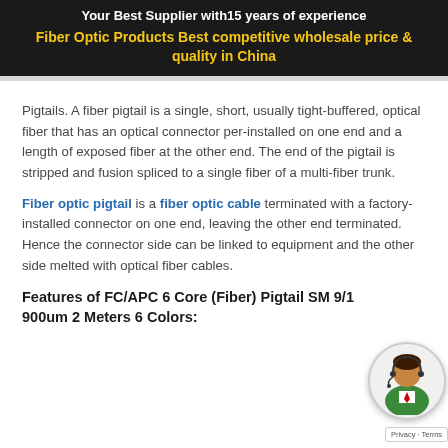Your Best Supplier with15 years of experience
Fiber Optic Products Best competitive wholesale price & quality in China
Pigtails. A fiber pigtail is a single, short, usually tight-buffered, optical fiber that has an optical connector per-installed on one end and a length of exposed fiber at the other end. The end of the pigtail is stripped and fusion spliced to a single fiber of a multi-fiber trunk.
Fiber optic pigtail is a fiber optic cable terminated with a factory-installed connector on one end, leaving the other end terminated. Hence the connector side can be linked to equipment and the other side melted with optical fiber cables.
Features of FC/APC 6 Core (Fiber) Pigtail SM 9/1 900um 2 Meters 6 Colors: